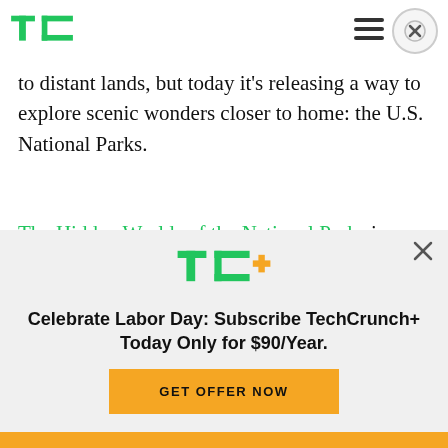TechCrunch logo, hamburger menu, close button
to distant lands, but today it's releasing a way to explore scenic wonders closer to home: the U.S. National Parks.
The Hidden Worlds of the National Parks is a new Google Arts & Culture exhibit and interactive documentary, timed to launch in celebration of this month's NPS Centennial.
[Figure (logo): TC+ logo (TechCrunch+ logo in green and yellow)]
Celebrate Labor Day: Subscribe TechCrunch+ Today Only for $90/Year.
GET OFFER NOW